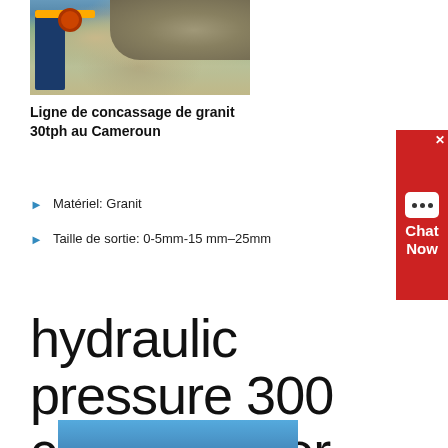[Figure (photo): Industrial granite crushing plant with blue crane machinery on the left and large piles of rubble/aggregate on the right.]
Ligne de concassage de granit 30tph au Cameroun
Matériel: Granit
Taille de sortie: 0-5mm-15 mm–25mm
hydraulic pressure 300 cone crusher
[Figure (photo): Exterior view of industrial crushing/screening equipment against a blue sky.]